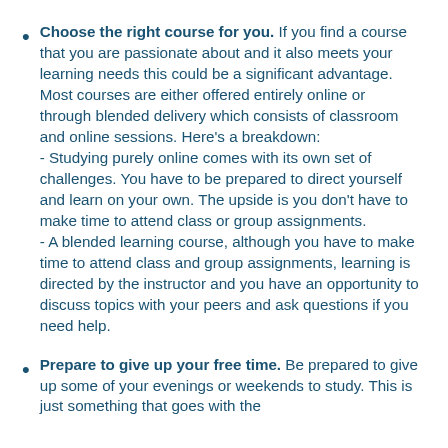Choose the right course for you. If you find a course that you are passionate about and it also meets your learning needs this could be a significant advantage. Most courses are either offered entirely online or through blended delivery which consists of classroom and online sessions. Here's a breakdown: - Studying purely online comes with its own set of challenges. You have to be prepared to direct yourself and learn on your own. The upside is you don't have to make time to attend class or group assignments. - A blended learning course, although you have to make time to attend class and group assignments, learning is directed by the instructor and you have an opportunity to discuss topics with your peers and ask questions if you need help.
Prepare to give up your free time. Be prepared to give up some of your evenings or weekends to study. This is just something that goes with the